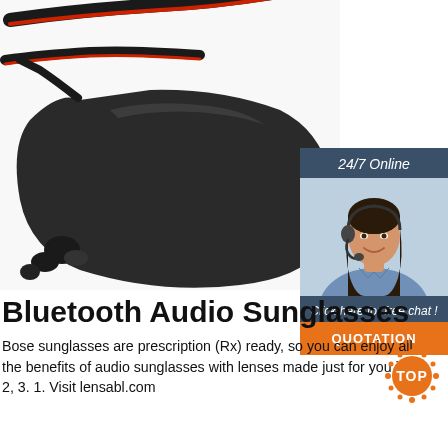[Figure (photo): Black and red Bluetooth audio sunglasses photographed at an angle against a white background, showing the frame and dark lens]
[Figure (infographic): 24/7 Online chat widget with a smiling female customer service representative wearing a headset, with 'Click here for free chat!' text and an orange QUOTATION button]
Bluetooth Audio Sunglasses
Bose sunglasses are prescription (Rx) ready, so you can enjoy all the benefits of audio sunglasses with lenses made just for you in 1, 2, 3. 1. Visit lensabl.com
[Figure (logo): TOP circular logo badge in orange with dots around the border]